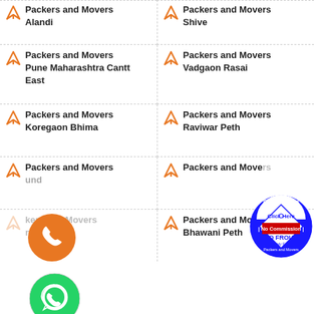Packers and Movers Alandi
Packers and Movers Shive
Packers and Movers Pune Maharashtra Cantt East
Packers and Movers Vadgaon Rasai
Packers and Movers Koregaon Bhima
Packers and Movers Raviwar Peth
Packers and Movers Lund
Packers and Movers
Packers and Movers Narwada
Packers and Movers Bhawani Peth
[Figure (logo): Circular badge: Get Free Quote, Click Here, No Commission, NO FROUD, Only For Packers and Movers]
[Figure (illustration): Orange phone call icon circle]
[Figure (illustration): Green WhatsApp icon circle]